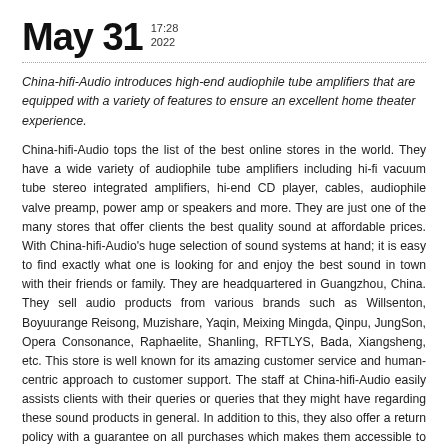May 31  17:28 2022
China-hifi-Audio introduces high-end audiophile tube amplifiers that are equipped with a variety of features to ensure an excellent home theater experience.
China-hifi-Audio tops the list of the best online stores in the world. They have a wide variety of audiophile tube amplifiers including hi-fi vacuum tube stereo integrated amplifiers, hi-end CD player, cables, audiophile valve preamp, power amp or speakers and more. They are just one of the many stores that offer clients the best quality sound at affordable prices. With China-hifi-Audio's huge selection of sound systems at hand; it is easy to find exactly what one is looking for and enjoy the best sound in town with their friends or family. They are headquartered in Guangzhou, China. They sell audio products from various brands such as Willsenton, Boyuurange Reisong, Muzishare, Yaqin, Meixing Mingda, Qinpu, JungSon, Opera Consonance, Raphaelite, Shanling, RFTLYS, Bada, Xiangsheng, etc. This store is well known for its amazing customer service and human-centric approach to customer support. The staff at China-hifi-Audio easily assists clients with their queries or queries that they might have regarding these sound products in general. In addition to this, they also offer a return policy with a guarantee on all purchases which makes them accessible to the